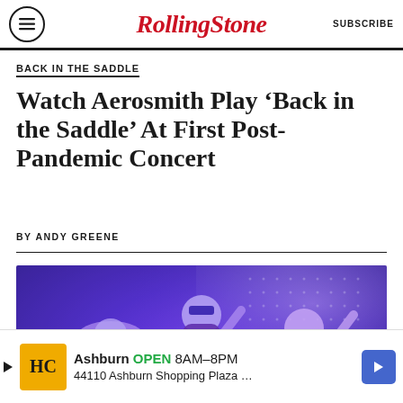Rolling Stone — SUBSCRIBE
BACK IN THE SADDLE
Watch Aerosmith Play ‘Back in the Saddle’ At First Post-Pandemic Concert
BY ANDY GREENE
[Figure (photo): Blue-tinted concert photo showing three performers on stage, one wearing a wide-brimmed hat, one in sunglasses, and one with arm raised]
Ashburn OPEN 8AM–8PM 44110 Ashburn Shopping Plaza …